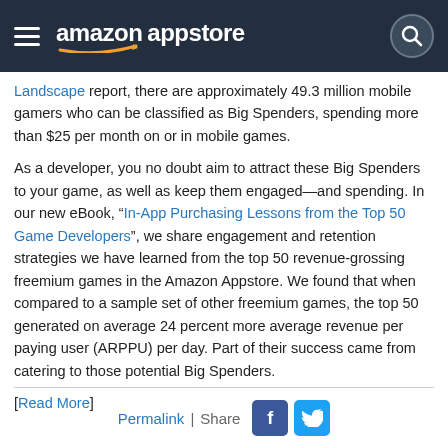amazon appstore
Landscape report, there are approximately 49.3 million mobile gamers who can be classified as Big Spenders, spending more than $25 per month on or in mobile games.
As a developer, you no doubt aim to attract these Big Spenders to your game, as well as keep them engaged—and spending. In our new eBook, “In-App Purchasing Lessons from the Top 50 Game Developers”, we share engagement and retention strategies we have learned from the top 50 revenue-grossing freemium games in the Amazon Appstore. We found that when compared to a sample set of other freemium games, the top 50 generated on average 24 percent more average revenue per paying user (ARPPU) per day. Part of their success came from catering to those potential Big Spenders.
[Read More]
Permalink | Share